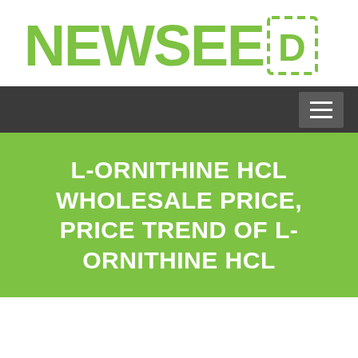[Figure (logo): NEWSEED logo with green bold text and dashed D icon]
[Figure (other): Dark navigation bar with hamburger menu icon on the right]
L-ORNITHINE HCL WHOLESALE PRICE, PRICE TREND OF L-ORNITHINE HCL
Posted on 23 Jul 2015
In Food additives Price trend  No